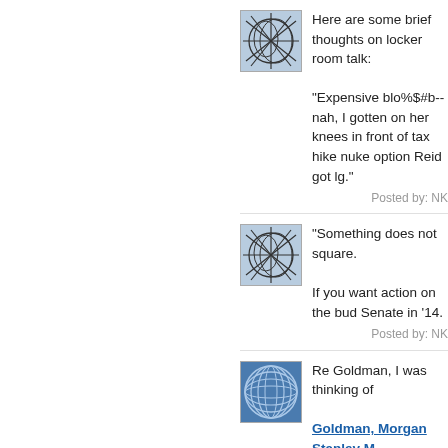[Figure (illustration): User avatar icon with abstract line art on blue/gray background]
Here are some brief thoughts on locker room talk:
"Expensive blo%$#b-- nah, I gotten on her knees in front of tax hike nuke option Reid got lg."
Posted by: NK
[Figure (illustration): User avatar icon with abstract line art on blue/gray background]
"Something does not square.

If you want action on the bud Senate in '14.
Posted by: NK
[Figure (illustration): User avatar icon with circular globe line art on blue background]
Re Goldman, I was thinking of
Goldman, Morgan Stanley M
from a couple of years ago, b doubt they want to have their the best way to do that is to s